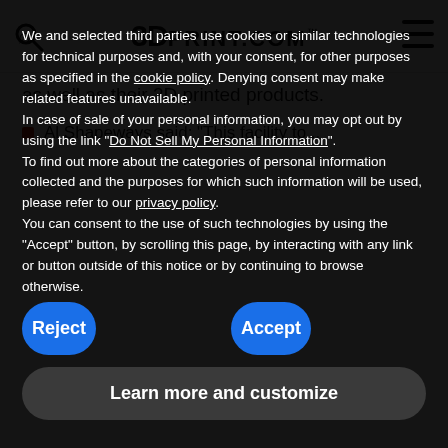3DPRINT.COM™
as well as their 3D printed products.
Al Shapeways said: "This facility to..."
We and selected third parties use cookies or similar technologies for technical purposes and, with your consent, for other purposes as specified in the cookie policy. Denying consent may make related features unavailable.
In case of sale of your personal information, you may opt out by using the link "Do Not Sell My Personal Information".
To find out more about the categories of personal information collected and the purposes for which such information will be used, please refer to our privacy policy.
You can consent to the use of such technologies by using the "Accept" button, by scrolling this page, by interacting with any link or button outside of this notice or by continuing to browse otherwise.
Reject
Accept
Learn more and customize